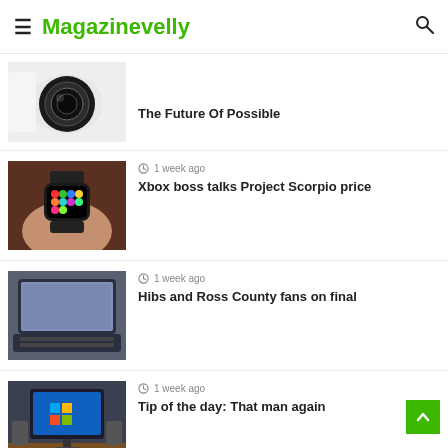Magazinevelly
[Figure (photo): Camera lens product photo (partial, top cropped)]
The Future Of Possible
[Figure (photo): Person wearing Apple Watch smartwatch]
1 week ago
Xbox boss talks Project Scorpio price
[Figure (photo): Laptop computer keyboard close-up]
1 week ago
Hibs and Ross County fans on final
[Figure (photo): Desktop computer setup with Windows 10 monitor]
1 week ago
Tip of the day: That man again